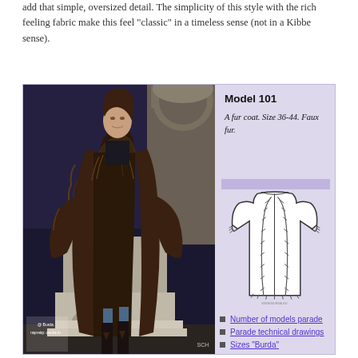add that simple, oversized detail. The simplicity of this style with the rich feeling fabric make this feel "classic" in a timeless sense (not in a Kibbe sense).
[Figure (photo): A woman wearing a long, shaggy dark brown faux fur coat standing outdoors at night near an ornate stone sculpture. She is wearing dark clothing and tall decorative boots. Watermark: @ Burda, партнёр: osinka.ru, SCH]
Model 101
A fur coat. Size 36-44. Faux fur.
[Figure (illustration): Technical flat drawing of a long coat/tunic with long sleeves, open front with decorative trim/fringe details along the front opening and cuffs, and a simple round neckline.]
Number of models parade
Parade technical drawings
Sizes "Burda"